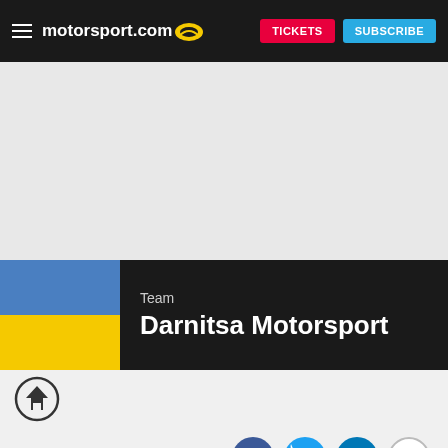motorsport.com | TICKETS | SUBSCRIBE
[Figure (other): Advertisement / blank banner area]
Team
Darnitsa Motorsport
[Figure (other): Home icon (circle with up-arrow)]
[Figure (other): Social sharing icons: Facebook, Twitter, LinkedIn, plus button]